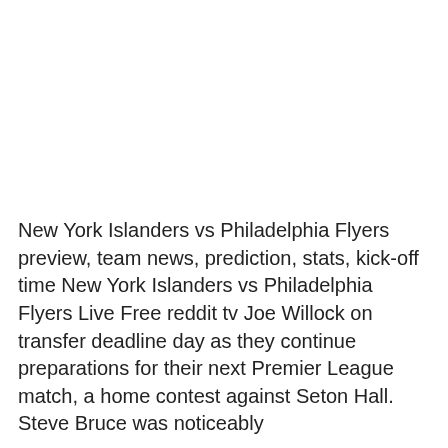New York Islanders vs Philadelphia Flyers preview, team news, prediction, stats, kick-off time New York Islanders vs Philadelphia Flyers Live Free reddit tv Joe Willock on transfer deadline day as they continue preparations for their next Premier League match, a home contest against Seton Hall. Steve Bruce was noticeably